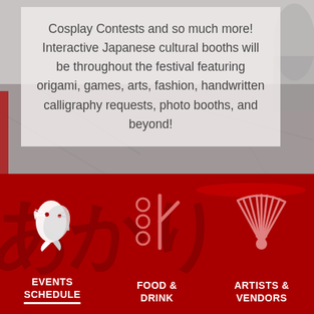Cosplay Contests and so much more! Interactive Japanese cultural booths will be throughout the festival featuring origami, games, arts, fashion, handwritten calligraphy requests, photo booths, and beyond!
[Figure (illustration): Red background section with large darker red watermark text, three navigation icons (koi fish, chopsticks/circles, fan), and three navigation labels: EVENTS SCHEDULE, FOOD & DRINK, ARTISTS & VENDORS]
EVENTS SCHEDULE
FOOD & DRINK
ARTISTS & VENDORS